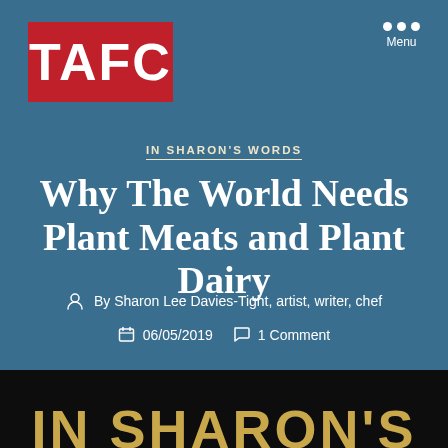[Figure (logo): TAFC logo: white bold text on red background]
[Figure (other): Menu icon: three white dots above the word Menu]
IN SHARON'S WORDS
Why The World Needs Plant Meats and Plant Dairy
By Sharon Lee Davies-Tight, artist, writer, chef
06/05/2019   1 Comment
[Figure (other): Bottom dark section showing partial text IN SHARON'S in large gold letters]